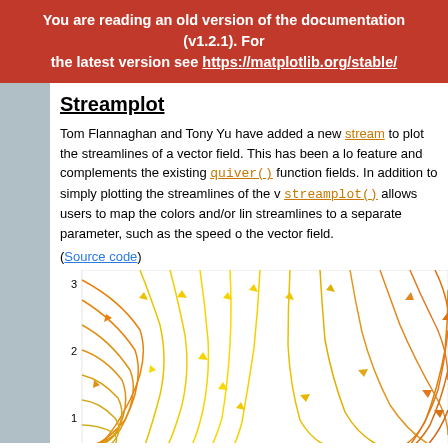You are reading an old version of the documentation (v1.2.1). For the latest version see https://matplotlib.org/stable/
Streamplot
Tom Flannaghan and Tony Yu have added a new streamplot() to plot the streamlines of a vector field. This has been a lo... feature and complements the existing quiver() function... fields. In addition to simply plotting the streamlines of the ... streamplot() allows users to map the colors and/or lin... streamlines to a separate parameter, such as the speed o... the vector field.
(Source code)
[Figure (continuous-plot): Streamplot visualization showing vector field streamlines with arrows, colored from orange (edges) to yellow (center), with y-axis labels 1, 2, 3 visible on the left side.]